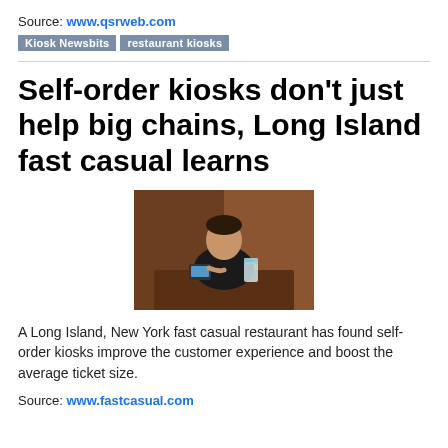Source: www.qsrweb.com
Kiosk Newsbits | restaurant kiosks
Self-order kiosks don't just help big chains, Long Island fast casual learns
[Figure (photo): A man sitting at a restaurant table holding a drink, with a tablet/kiosk device visible]
A Long Island, New York fast casual restaurant has found self-order kiosks improve the customer experience and boost the average ticket size.
Source: www.fastcasual.com